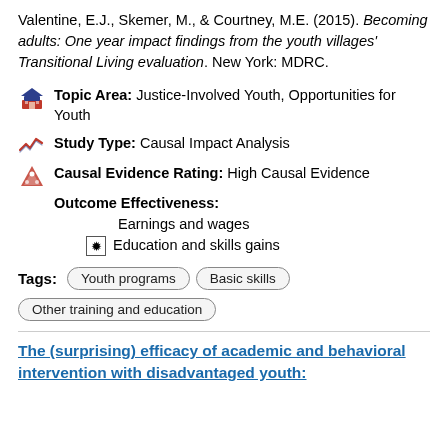Valentine, E.J., Skemer, M., & Courtney, M.E. (2015). Becoming adults: One year impact findings from the youth villages' Transitional Living evaluation. New York: MDRC.
Topic Area: Justice-Involved Youth, Opportunities for Youth
Study Type: Causal Impact Analysis
Causal Evidence Rating: High Causal Evidence
Outcome Effectiveness:
Earnings and wages
Education and skills gains
Tags: Youth programs, Basic skills, Other training and education
The (surprising) efficacy of academic and behavioral intervention with disadvantaged youth: